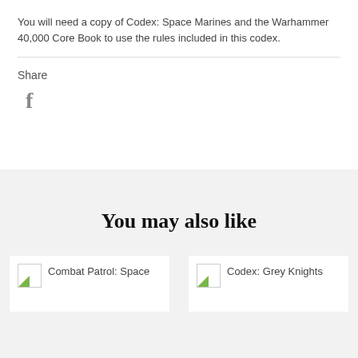You will need a copy of Codex: Space Marines and the Warhammer 40,000 Core Book to use the rules included in this codex.
Share
[Figure (logo): Facebook 'f' icon in grey]
You may also like
Combat Patrol: Space
Codex: Grey Knights